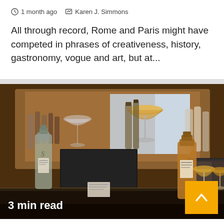1 month ago   Karen J. Simmons
All through record, Rome and Paris might have competed in phrases of creativeness, history, gastronomy, vogue and art, but at...
[Figure (photo): Bar scene with bottles, cocktail glasses, and a black box display on a dark counter, with amber-colored spirits and coupe glasses visible]
3 min read